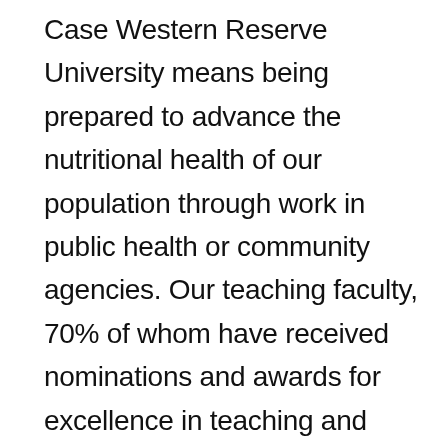Case Western Reserve University means being prepared to advance the nutritional health of our population through work in public health or community agencies. Our teaching faculty, 70% of whom have received nominations and awards for excellence in teaching and mentoring, will provide you with a personalized learning and mentoring experience through courses in public health theory, program development and evaluation, nutritional epidemiology and more. Apply today to begin forging a career that promotes health